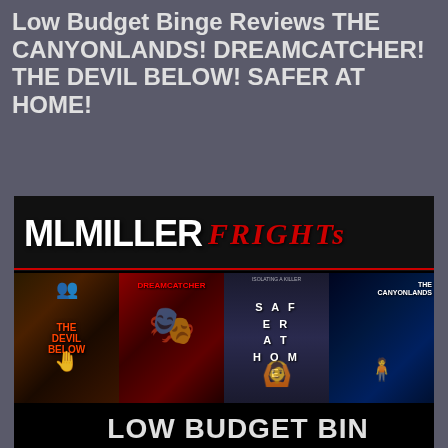Low Budget Binge Reviews THE CANYONLANDS! DREAMCATCHER! THE DEVIL BELOW! SAFER AT HOME!
[Figure (illustration): ML Miller Frights logo banner above a strip of four horror movie poster thumbnails: The Devil Below, Dreamcatcher, Safer At Home, and The Canyonlands. Below the posters appears the beginning of bold text 'LOW BUDGET BINGE'.]